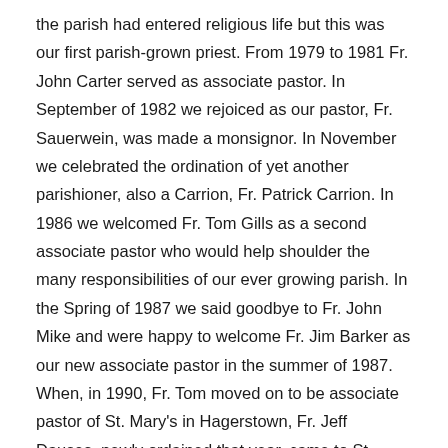the parish had entered religious life but this was our first parish-grown priest. From 1979 to 1981 Fr. John Carter served as associate pastor. In September of 1982 we rejoiced as our pastor, Fr. Sauerwein, was made a monsignor. In November we celebrated the ordination of yet another parishioner, also a Carrion, Fr. Patrick Carrion. In 1986 we welcomed Fr. Tom Gills as a second associate pastor who would help shoulder the many responsibilities of our ever growing parish. In the Spring of 1987 we said goodbye to Fr. John Mike and were happy to welcome Fr. Jim Barker as our new associate pastor in the summer of 1987. When, in 1990, Fr. Tom moved on to be associate pastor of St. Mary's in Hagerstown, Fr. Jeff Dauses, newly ordained that year, came to St. Louis as his first assignment to be associate pastor. In June of 1991, Fr. Jim Barker was appointed Director of Vocations for the Archdiocese of Baltimore and we wished him well as he left St. Louis. Fr. Richard Lobert joined us as associate pastor in January 1993. Also in 1993, we rejoiced at the ordination to the priesthood of yet another parishioner, Fr. Kevin Farmer. February